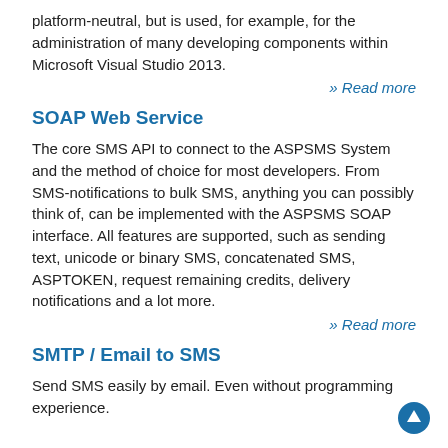platform-neutral, but is used, for example, for the administration of many developing components within Microsoft Visual Studio 2013.
» Read more
SOAP Web Service
The core SMS API to connect to the ASPSMS System and the method of choice for most developers. From SMS-notifications to bulk SMS, anything you can possibly think of, can be implemented with the ASPSMS SOAP interface. All features are supported, such as sending text, unicode or binary SMS, concatenated SMS, ASPTOKEN, request remaining credits, delivery notifications and a lot more.
» Read more
SMTP / Email to SMS
Send SMS easily by email. Even without programming experience.